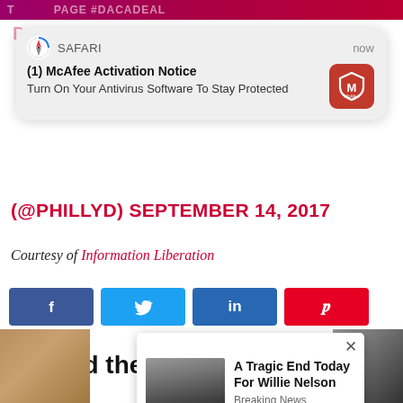[Figure (screenshot): Purple/red top bar with partial headline text #DACADEAL]
[Figure (screenshot): Safari browser notification popup: '(1) McAfee Activation Notice — Turn On Your Antivirus Software To Stay Protected' with McAfee red shield icon]
(@PHILLYD) SEPTEMBER 14, 2017
Courtesy of Information Liberation
[Figure (infographic): Social share buttons row: Facebook (f), Twitter (bird), LinkedIn (in), Pinterest (P)]
Around the Web
[Figure (screenshot): Ad popup overlay: 'A Tragic End Today For Willie Nelson — Breaking News' with thumbnail of elderly man in black]